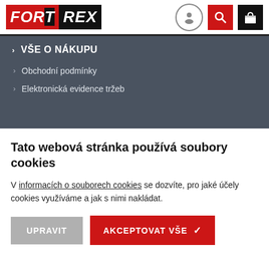FORTREX
> VŠE O NÁKUPU
> Obchodní podmínky
> Elektronická evidence tržeb
Tato webová stránka používá soubory cookies
V informacích o souborech cookies se dozvíte, pro jaké účely cookies využíváme a jak s nimi nakládat.
UPRAVIT | AKCEPTOVAT VŠE ✓